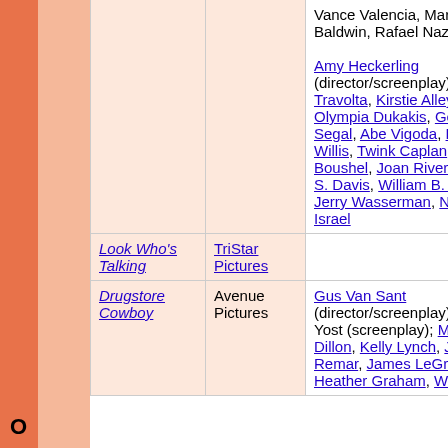| Film | Studio | Cast/Crew | ... |
| --- | --- | --- | --- |
| (partial) ... | (partial) | Vance Valencia, Mary Baldwin, Rafael Nazario
Amy Heckerling (director/screenplay); John Travolta, Kirstie Alley, Olympia Dukakis, George Segal, Abe Vigoda, Bruce Willis, Twink Caplan, Joy Boushel, Joan Rivers, Don S. Davis, William B. Davis, Jerry Wasserman, Neal Israel | Ro... Co... |
| Look Who's Talking | TriStar Pictures | Amy Heckerling (director/screenplay); John Travolta, Kirstie Alley, Olympia Dukakis, George Segal, Abe Vigoda, Bruce Willis, Twink Caplan, Joy Boushel, Joan Rivers, Don S. Davis, William B. Davis, Jerry Wasserman, Neal Israel | Ro... Co... |
| Drugstore Cowboy | Avenue Pictures | Gus Van Sant (director/screenplay); Daniel Yost (screenplay); Matt Dillon, Kelly Lynch, James Remar, James LeGros, Heather Graham, William S. ... | Cr... Dr... |